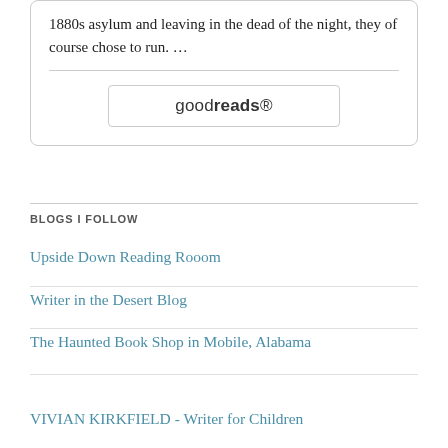1880s asylum and leaving in the dead of the night, they of course chose to run. …
[Figure (logo): Goodreads button/logo with rounded rectangle border]
BLOGS I FOLLOW
Upside Down Reading Rooom
Writer in the Desert Blog
The Haunted Book Shop in Mobile, Alabama
VIVIAN KIRKFIELD - Writer for Children